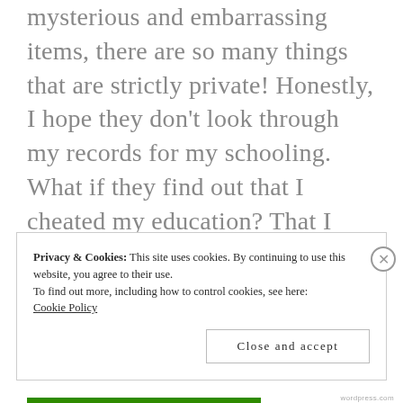mysterious and embarrassing items, there are so many things that are strictly private! Honestly, I hope they don't look through my records for my schooling. What if they find out that I cheated my education? That I snubbed a grade? I imagine them scowling then declaring my death of suicide because of all that guilt that I've been hiding.
Privacy & Cookies: This site uses cookies. By continuing to use this website, you agree to their use.
To find out more, including how to control cookies, see here:
Cookie Policy